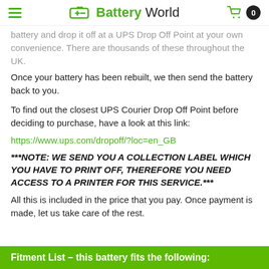Battery World
battery and drop it off at a UPS Drop Off Point at your own convenience. There are thousands of these throughout the UK.
Once your battery has been rebuilt, we then send the battery back to you.
To find out the closest UPS Courier Drop Off Point before deciding to purchase, have a look at this link:
https://www.ups.com/dropoff/?loc=en_GB
***NOTE: WE SEND YOU A COLLECTION LABEL WHICH YOU HAVE TO PRINT OFF, THEREFORE YOU NEED ACCESS TO A PRINTER FOR THIS SERVICE.***
All this is included in the price that you pay. Once payment is made, let us take care of the rest.
Fitment List – this battery fits the following: